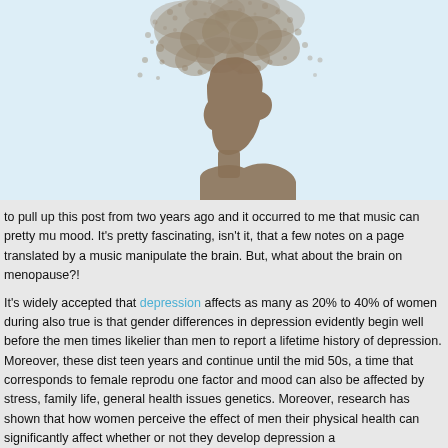[Figure (illustration): Silhouette of a woman's profile in brownish-tan color with hair that disperses into a tree or cloud of scattered leaves/particles above, set against a light blue background.]
to pull up this post from two years ago and it occurred to me that music can pretty mu mood. It's pretty fascinating, isn't it, that a few notes on a page translated by a music manipulate the brain. But, what about the brain on menopause?!
It's widely accepted that depression affects as many as 20% to 40% of women during also true is that gender differences in depression evidently begin well before the men times likelier than men to report a lifetime history of depression. Moreover, these dist teen years and continue until the mid 50s, a time that corresponds to female reprodu one factor and mood can also be affected by stress, family life, general health issues genetics. Moreover, research has shown that how women perceive the effect of men their physical health can significantly affect whether or not they develop depression a
One thing that is fascinating about depression is while drugs have long been conside alternatives, such as physical activity, have been shown to alleviate depression to a c least, boost the effectiveness of pharmaceuticals. Listening to music may also be be